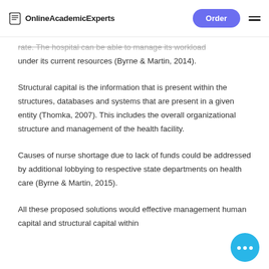OnlineAcademicExperts | Order
rate. The hospital can be able to manage its workload under its current resources (Byrne & Martin, 2014).
Structural capital is the information that is present within the structures, databases and systems that are present in a given entity (Thomka, 2007). This includes the overall organizational structure and management of the health facility.
Causes of nurse shortage due to lack of funds could be addressed by additional lobbying to respective state departments on health care (Byrne & Martin, 2015).
All these proposed solutions would effective management human capital and structural capital within